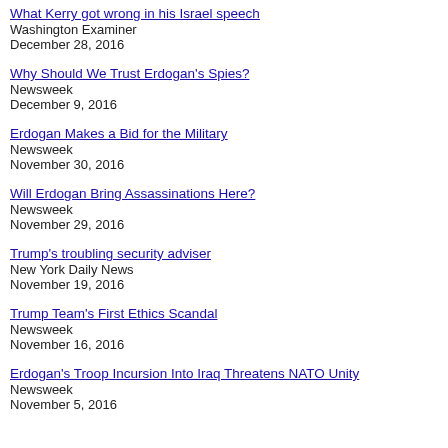What Kerry got wrong in his Israel speech
Washington Examiner
December 28, 2016
Why Should We Trust Erdogan's Spies?
Newsweek
December 9, 2016
Erdogan Makes a Bid for the Military
Newsweek
November 30, 2016
Will Erdogan Bring Assassinations Here?
Newsweek
November 29, 2016
Trump's troubling security adviser
New York Daily News
November 19, 2016
Trump Team's First Ethics Scandal
Newsweek
November 16, 2016
Erdogan's Troop Incursion Into Iraq Threatens NATO Unity
Newsweek
November 5, 2016